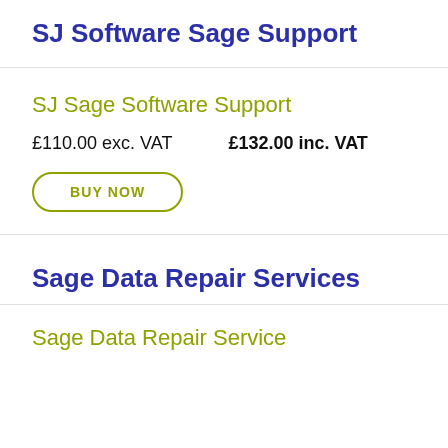SJ Software Sage Support
SJ Sage Software Support
£110.00 exc. VAT     £132.00 inc. VAT
BUY NOW
Sage Data Repair Services
Sage Data Repair Service